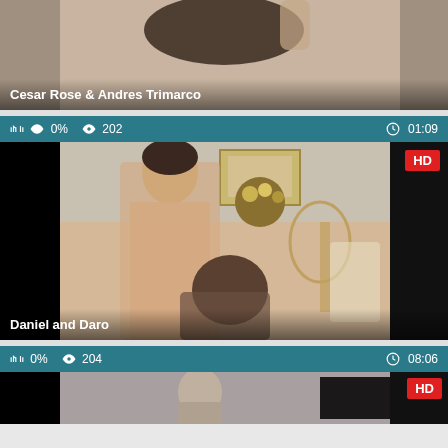[Figure (photo): Partial top of first video card showing title 'Cesar Rose & Andres Trimarco']
Cesar Rose & Andres Trimarco
0% views 202 time 01:09
[Figure (photo): Video thumbnail for 'Daniel and Daro' with HD badge, showing two figures]
Daniel and Daro
0% views 204 time 08:06
[Figure (photo): Partial bottom video card with HD badge]